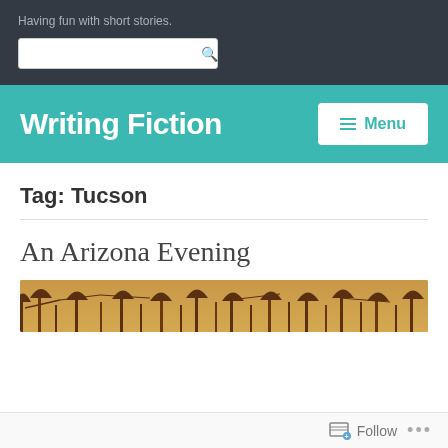Having fun with short stories.
Writing Fiction
Tag: Tucson
An Arizona Evening
[Figure (photo): Silhouette of tree branches against warm golden-orange sky at dusk, Arizona evening scene]
Follow